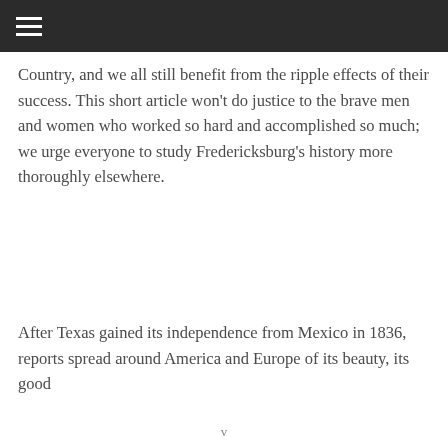≡
Country, and we all still benefit from the ripple effects of their success. This short article won't do justice to the brave men and women who worked so hard and accomplished so much; we urge everyone to study Fredericksburg's history more thoroughly elsewhere.
After Texas gained its independence from Mexico in 1836, reports spread around America and Europe of its beauty, its good